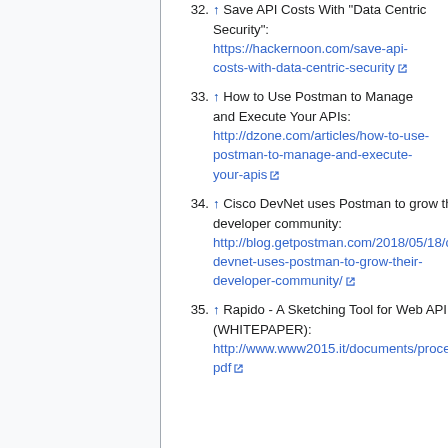32. ↑ Save API Costs With "Data Centric Security": https://hackernoon.com/save-api-costs-with-data-centric-security
33. ↑ How to Use Postman to Manage and Execute Your APIs: http://dzone.com/articles/how-to-use-postman-to-manage-and-execute-your-apis
34. ↑ Cisco DevNet uses Postman to grow their developer community: http://blog.getpostman.com/2018/05/18/cisco-devnet-uses-postman-to-grow-their-developer-community/
35. ↑ Rapido - A Sketching Tool for Web API Designers (WHITEPAPER): http://www.www2015.it/documents/proceedings/companion/p1509.pdf